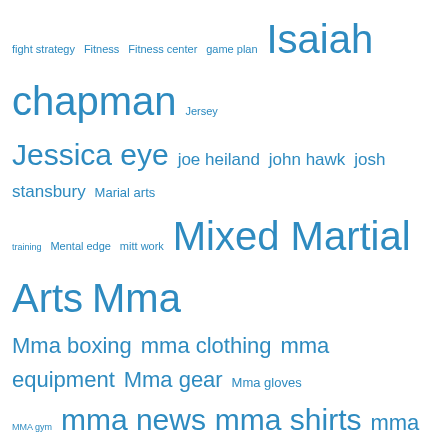[Figure (infographic): Tag cloud with MMA and martial arts related terms in varying font sizes, all in blue color on white background. Larger terms include Mixed Martial Arts, Mma, NAAFS, personal training, Strongstyle, truassassin fight gear, women's Mma, etc.]